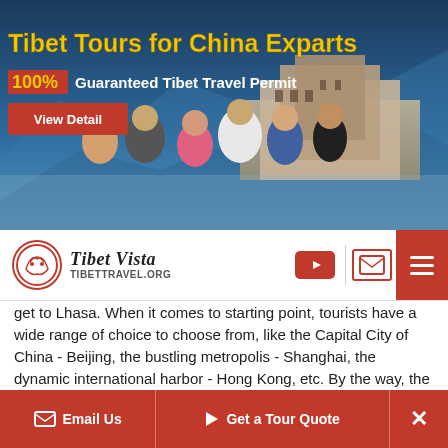[Figure (photo): Tibet Tours banner ad showing group of tourists with Potala Palace in background. Text: 'Tibet Tours for China Exparts', '100% Guaranteed Tibet Travel Permit', 'View Detail' button.]
[Figure (logo): Tibet Vista / TibetTravel.org logo with navigation icons (YouTube, email, hamburger menu)]
get to Lhasa. When it comes to starting point, tourists have a wide range of choice to choose from, like the Capital City of China - Beijing, the bustling metropolis - Shanghai, the dynamic international harbor - Hong Kong, etc. By the way, the flight from Kathmandu to Lhasa is the only one international flight to Tibet available for tourists. If lucky enough, you can enjoy the superb vista of Mount Everest on the left seat.
[Figure (map): Map showing Tibet region with green highlighted area and grey border lines]
Email Us   Get a Tour Quote   ✕